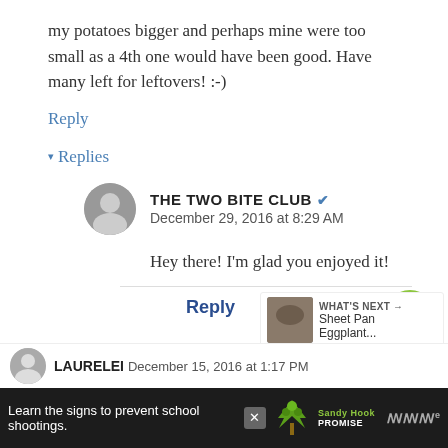my potatoes bigger and perhaps mine were too small as a 4th one would have been good. Have many left for leftovers! :-)
Reply
▾ Replies
THE TWO BITE CLUB ✔
December 29, 2016 at 8:29 AM
Hey there! I'm glad you enjoyed it!
Reply
WHAT'S NEXT → Sheet Pan Eggplant...
LAURELEI December 15, 2016 at 1:17 PM
Learn the signs to prevent school shootings.